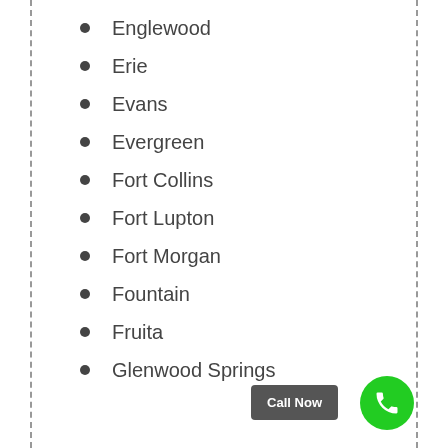Englewood
Erie
Evans
Evergreen
Fort Collins
Fort Lupton
Fort Morgan
Fountain
Fruita
Glenwood Springs